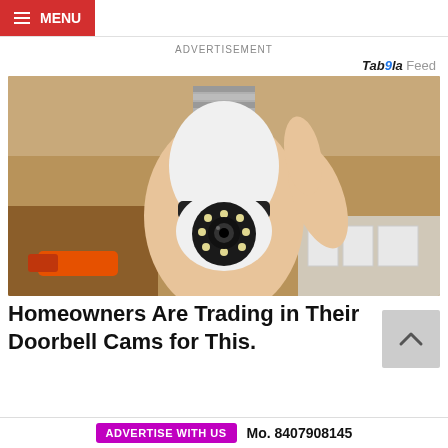MENU
ADVERTISEMENT
Taboola Feed
[Figure (photo): Hand holding a white security camera shaped like a light bulb with a circular lens and LEDs, in front of a cardboard shelf with equipment in the background]
Homeowners Are Trading in Their Doorbell Cams for This.
Keillini | Sponsored
ADVERTISE WITH US  Mo. 8407908145